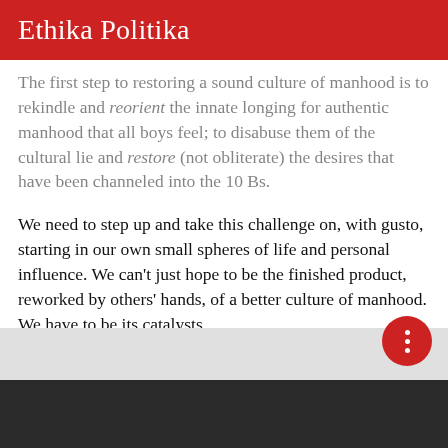Ethika Politika
The first step to restoring a sound culture of manhood is to rekindle and reorient the innate longing for authentic manhood that all boys feel; to disabuse them of the cultural lie and restore (not obliterate) the desires that have been channeled into the 10 Bs.
We need to step up and take this challenge on, with gusto, starting in our own small spheres of life and personal influence. We can't just hope to be the finished product, reworked by others' hands, of a better culture of manhood. We have to be its catalysts.